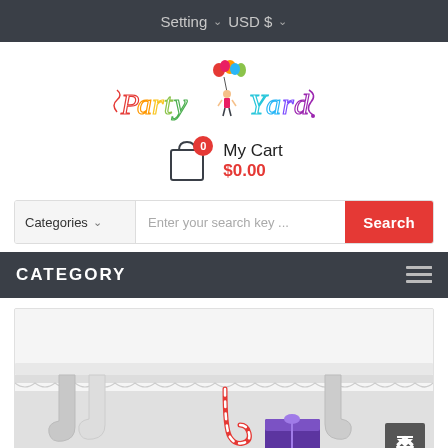Setting  USD $
[Figure (logo): Party Yard colorful handwritten logo with balloons and a girl figure]
My Cart $0.00
Categories   Enter your search key ...   Search
CATEGORY
[Figure (photo): Christmas stockings hanging on a white mantelpiece with gifts and candy cane, partial view]